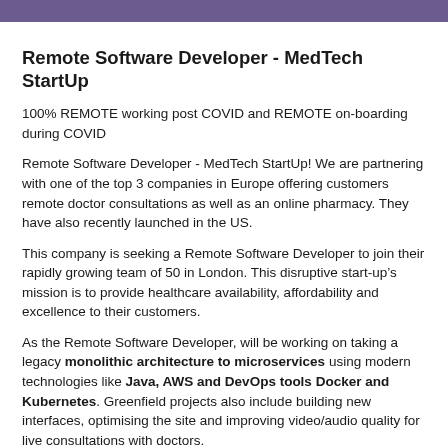Remote Software Developer - MedTech StartUp
100% REMOTE working post COVID and REMOTE on-boarding during COVID
Remote Software Developer - MedTech StartUp! We are partnering with one of the top 3 companies in Europe offering customers remote doctor consultations as well as an online pharmacy. They have also recently launched in the US.
This company is seeking a Remote Software Developer to join their rapidly growing team of 50 in London. This disruptive start-up’s mission is to provide healthcare availability, affordability and excellence to their customers.
As the Remote Software Developer, will be working on taking a legacy monolithic architecture to microservices using modern technologies like Java, AWS and DevOps tools Docker and Kubernetes. Greenfield projects also include building new interfaces, optimising the site and improving video/audio quality for live consultations with doctors.